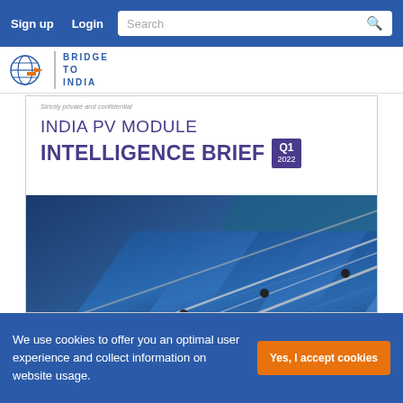Sign up  Login  Search
[Figure (logo): Bridge to India logo with globe icon and text BRIDGE TO INDIA]
Strictly private and confidential
INDIA PV MODULE INTELLIGENCE BRIEF Q1 2022
[Figure (photo): Close-up photograph of solar PV panels with metallic mounting rails and sunlight reflections]
We use cookies to offer you an optimal user experience and collect information on website usage.
Yes, I accept cookies